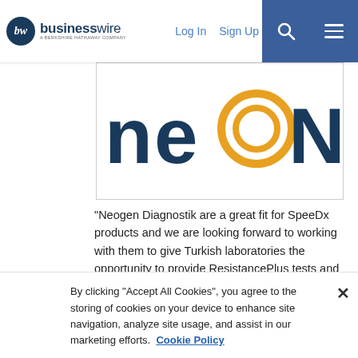businesswire - A Berkshire Hathaway Company | Log In | Sign Up
[Figure (logo): Neogen logo partially visible at top of page]
“Neogen Diagnostik are a great fit for SpeeDx products and we are looking forward to working with them to give Turkish laboratories the opportunity to provide ResistancePlus tests and support the use of Resistance Guided Therapy with their clinician partners.” - Warwick Need, SpeeDx Director of Sales (Graphic: Business Wire)
[Figure (logo): Thumbnail showing SpeeDx and neoGEN logos combined]
[Figure (logo): Thumbnail showing SpeeDx logo]
By clicking “Accept All Cookies”, you agree to the storing of cookies on your device to enhance site navigation, analyze site usage, and assist in our marketing efforts.  Cookie Policy